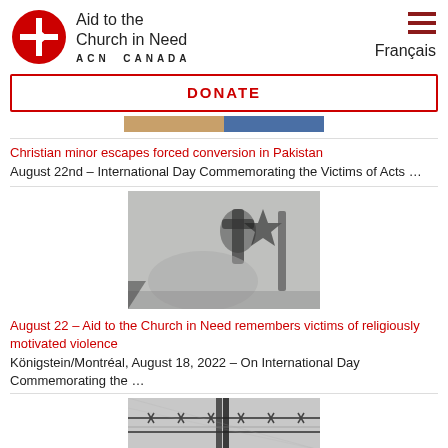Aid to the Church in Need ACN CANADA Français
DONATE
[Figure (photo): Partial cropped image at top of article]
Christian minor escapes forced conversion in Pakistan
August 22nd – International Day Commemorating the Victims of Acts …
[Figure (photo): Close-up photo of metal cross and barbed wire, blurred background]
August 22 – Aid to the Church in Need remembers victims of religiously motivated violence
Königstein/Montréal, August 18, 2022 – On International Day Commemorating the …
[Figure (photo): Black and white photo of barbed wire fence]